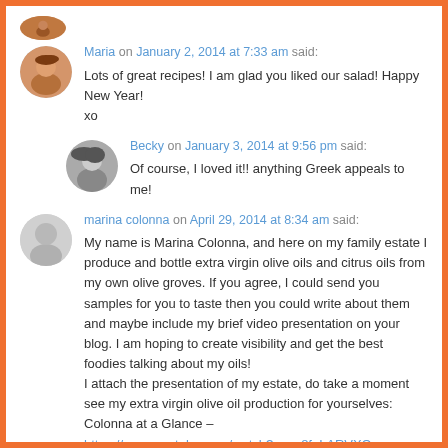[Figure (photo): Partial avatar image at top, cut off]
Maria on January 2, 2014 at 7:33 am said:
Lots of great recipes! I am glad you liked our salad! Happy New Year! xo
Becky on January 3, 2014 at 9:56 pm said:
Of course, I loved it!! anything Greek appeals to me!
marina colonna on April 29, 2014 at 8:34 am said:
My name is Marina Colonna, and here on my family estate I produce and bottle extra virgin olive oils and citrus oils from my own olive groves. If you agree, I could send you samples for you to taste then you could write about them and maybe include my brief video presentation on your blog. I am hoping to create visibility and get the best foodies talking about my oils!
I attach the presentation of my estate, do take a moment see my extra virgin olive oil production for yourselves: Colonna at a Glance – https://www.youtube.com/watch?v=yu8f_LARVXQ
With thanks
Marina Colonna
Becky on April 29, 2014 at 7:06 pm said: